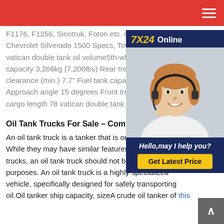Navigation bar with hamburger menu
F1176, F1256, Sinotruk, Foton etc. cheap price.2008 Chevrolet Silverado 1500 Specs, Towing Capacity vatican double tank oil volume5th-wheel capacity 3,266kg (7,200lbs) Rear tread clearance (min.) 7.7" Fuel tank capacity Approach angle 15 degrees Front tread cargo length 78 vatican double tank oil
[Figure (photo): Customer service representative woman with headset smiling, with 7X24 Online chat widget overlay showing Hello, may I help you? and Get Latest Price button]
Oil Tank Trucks For Sale - Commercial
An oil tank truck is a tanker that is only While they may have similar features to other tank trucks, an oil tank truck should not be used for any other purposes. An oil tank truck is a highly specialized vehicle, specifically designed for safely transporting oil.Oil tanker ship capacity, sizeA crude oil tanker of this